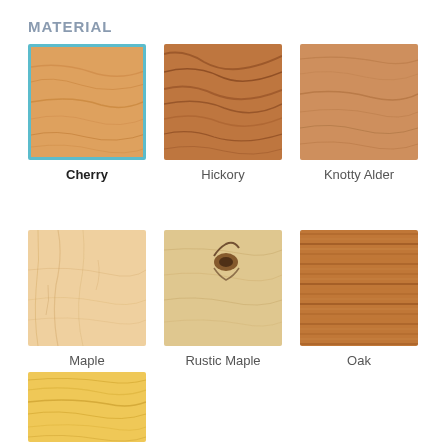MATERIAL
[Figure (illustration): Wood material swatch for Cherry (selected, with teal border)]
Cherry
[Figure (illustration): Wood material swatch for Hickory]
Hickory
[Figure (illustration): Wood material swatch for Knotty Alder]
Knotty Alder
[Figure (illustration): Wood material swatch for Maple]
Maple
[Figure (illustration): Wood material swatch for Rustic Maple]
Rustic Maple
[Figure (illustration): Wood material swatch for Oak]
Oak
[Figure (illustration): Wood material swatch for Pine (partially visible, bottom row)]